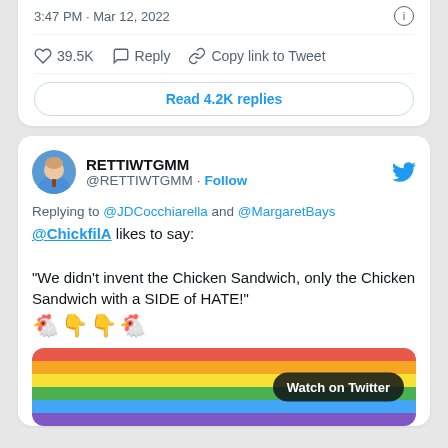3:47 PM · Mar 12, 2022
39.5K  Reply  Copy link to Tweet
Read 4.2K replies
RETTIWTGMM @RETTIWTGMM · Follow
Replying to @JDCocchiarella and @MargaretBays
@ChickfilA likes to say:

"We didn't invent the Chicken Sandwich, only the Chicken Sandwich with a SIDE of HATE!" 🐔👇👇🐔
[Figure (screenshot): Rainbow striped image with 'Watch on Twitter' badge in bottom right]